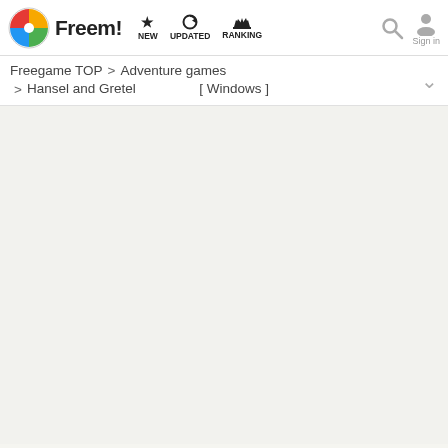Freem! NEW UPDATED RANKING Sign in
Freegame TOP > Adventure games > Hansel and Gretel　　　　　 [ Windows ]